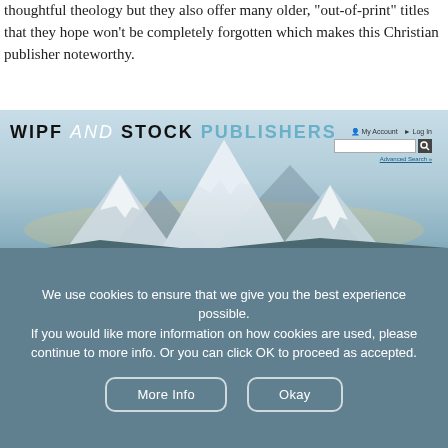thoughtful theology but they also offer many older, "out-of-print" titles that they hope won't be completely forgotten which makes this Christian publisher noteworthy.
[Figure (screenshot): Screenshot of Wipf and Stock Publishers website showing the header with logo, mountain background, navigation bar with Browse, Imprints, Publish With Us, News, About Us, Contact Us links, and a book banner for 'Power Made...' by Timothy Sherratt]
We use cookies to ensure that we give you the best experience possible.
If you would like more information on how cookies are used, please continue to more info. Or you can click OK to proceed as accepted.
More Info
Okay